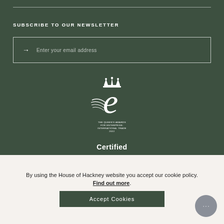SUBSCRIBE TO OUR NEWSLETTER
Enter your email address
[Figure (logo): The Queen's Awards for Enterprise: International Trade 2022 logo — a stylised letter E with wings and a crown, white on dark green background. Text below reads: THE QUEEN'S AWARDS FOR ENTERPRISE: INTERNATIONAL TRADE 2022]
Certified
By using the House of Hackney website you accept our cookie policy.
Find out more.
Accept Cookies